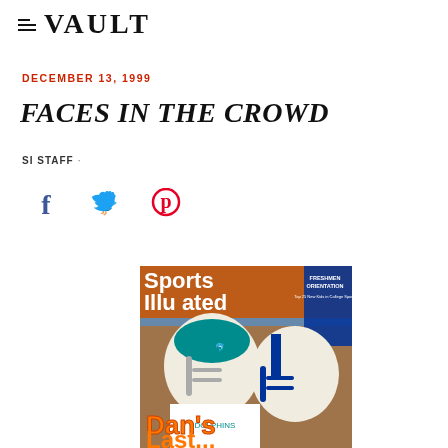VAULT
DECEMBER 13, 1999
FACES IN THE CROWD
SI STAFF ·
[Figure (other): Social media share icons: Facebook, Twitter, Pinterest]
[Figure (photo): Sports Illustrated magazine cover showing two football players wearing Dolphins and Colts helmets, with text 'Dan's Last...' in orange letters and 'Freshmen Orientation' sidebar text]